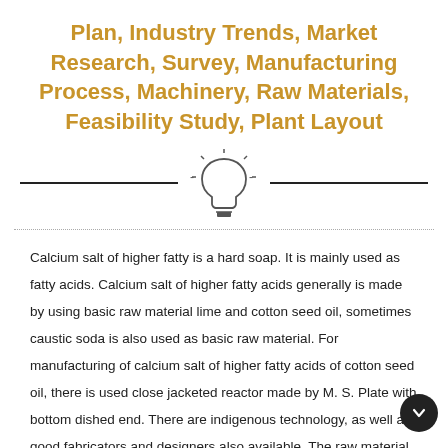Plan, Industry Trends, Market Research, Survey, Manufacturing Process, Machinery, Raw Materials, Feasibility Study, Plant Layout
[Figure (illustration): Light bulb icon with rays, flanked by two horizontal lines forming a decorative divider]
Calcium salt of higher fatty is a hard soap. It is mainly used as fatty acids. Calcium salt of higher fatty acids generally is made by using basic raw material lime and cotton seed oil, sometimes caustic soda is also used as basic raw material. For manufacturing of calcium salt of higher fatty acids of cotton seed oil, there is used close jacketed reactor made by M. S. Plate with bottom dished end. There are indigenous technology, as well as good fabricators and designers also available. The raw material also available in India. There has fair market of calcium salt of higher fatty acid in India. So few entrepreneur